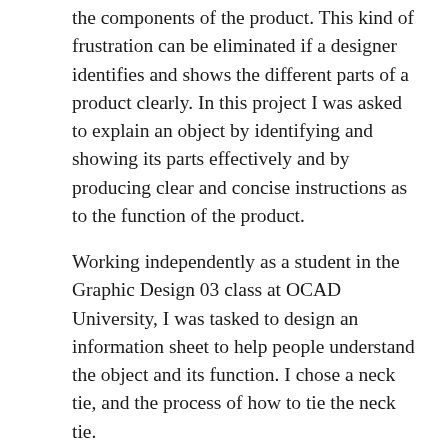the components of the product. This kind of frustration can be eliminated if a designer identifies and shows the different parts of a product clearly. In this project I was asked to explain an object by identifying and showing its parts effectively and by producing clear and concise instructions as to the function of the product.
Working independently as a student in the Graphic Design 03 class at OCAD University, I was tasked to design an information sheet to help people understand the object and its function. I chose a neck tie, and the process of how to tie the neck tie.